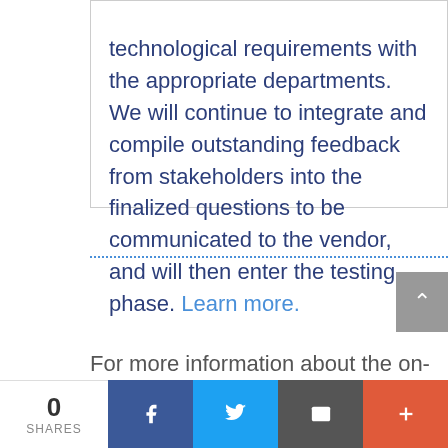technological requirements with the appropriate departments. We will continue to integrate and compile outstanding feedback from stakeholders into the finalized questions to be communicated to the vendor, and will then enter the testing phase. Learn more.
For more information about the on-going focused work within the spheres, check out
0 SHARES | Facebook | Twitter | Email | +